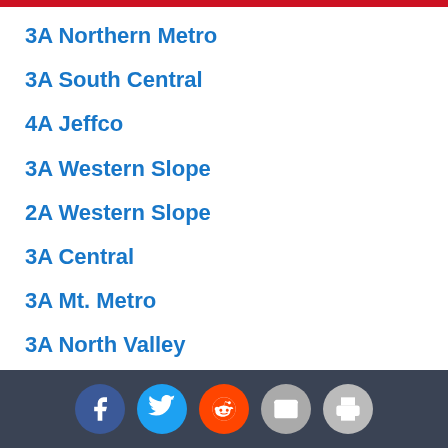3A Northern Metro
3A South Central
4A Jeffco
3A Western Slope
2A Western Slope
3A Central
3A Mt. Metro
3A North Valley
2A Tri-Peaks
4A Longs Peak
3A Southern
4A Northern
4A Metro